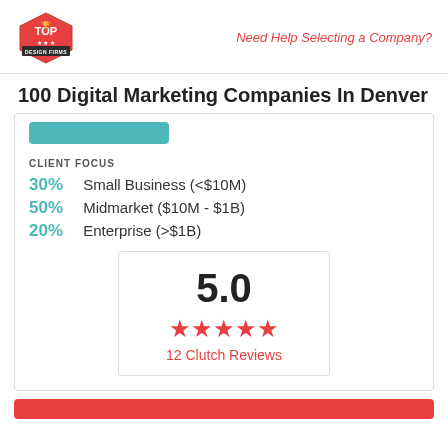Need Help Selecting a Company?
100 Digital Marketing Companies In Denver
30% Small Business (<$10M)
50% Midmarket ($10M - $1B)
20% Enterprise (>$1B)
[Figure (other): Rating box showing 5.0 score with 5 red stars and '12 Clutch Reviews' text]